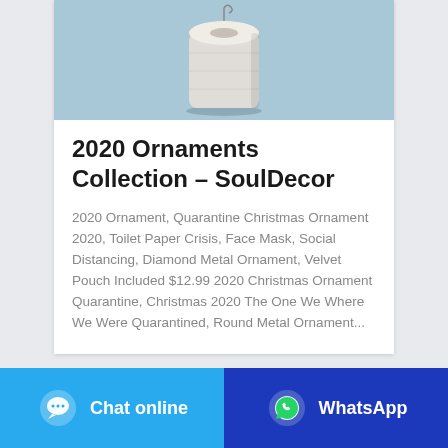[Figure (photo): Product photo of a toilet paper roll ornament against a light blue background]
2020 Ornaments Collection – SoulDecor
2020 Ornament, Quarantine Christmas Ornament 2020, Toilet Paper Crisis, Face Mask, Social Distancing, Diamond Metal Ornament, Velvet Pouch Included $12.99 2020 Christmas Ornament Quarantine, Christmas 2020 The One We Where We Were Quarantined, Round Metal Ornament...
[Figure (other): Chat online button with chat bubble icon (light blue background)]
[Figure (other): WhatsApp button with WhatsApp icon (dark blue background)]